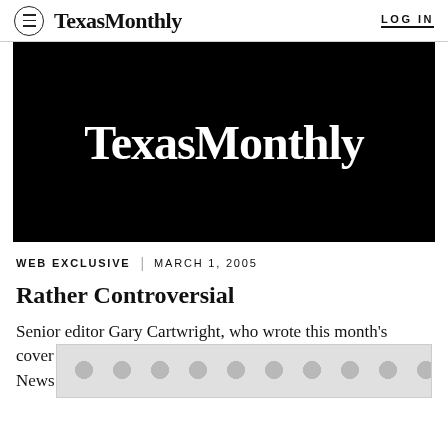TexasMonthly  LOG IN
[Figure (logo): Texas Monthly logo in white serif font on black background]
WEB EXCLUSIVE | MARCH 1, 2005
Rather Controversial
Senior editor Gary Cartwright, who wrote this month's cover story on Dan Rather for CBS News ...of